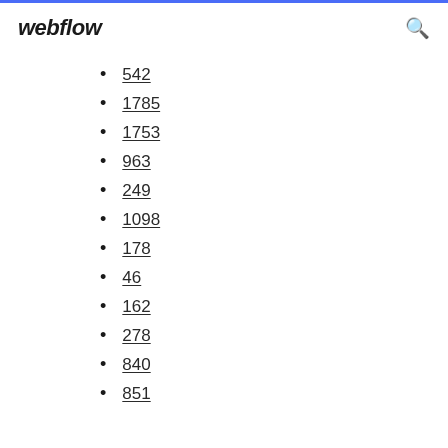webflow
542
1785
1753
963
249
1098
178
46
162
278
840
851